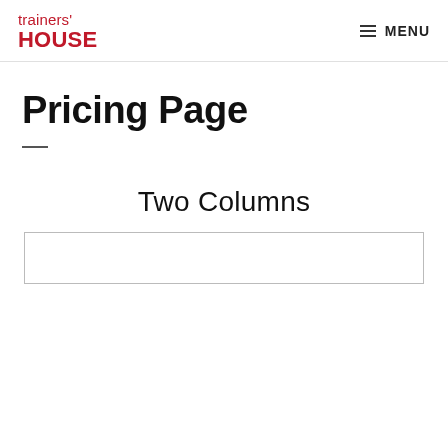trainers' HOUSE  MENU
Pricing Page
Two Columns